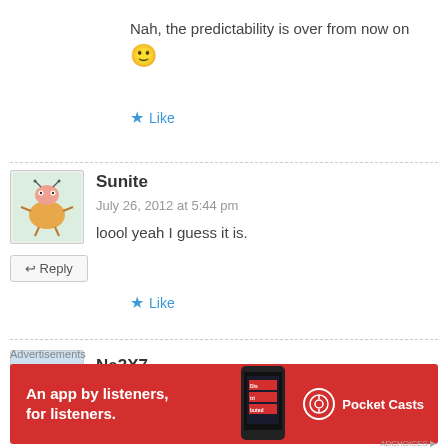Nah, the predictability is over from now on 🙂
★ Like
Sunite
July 26, 2012 at 5:44 pm
loool yeah I guess it is.
↩ Reply
★ Like
Ne3X7
Advertisements
[Figure (infographic): Pocket Casts advertisement banner: red background, text 'An app by listeners, for listeners.' with phone graphic and Pocket Casts logo]